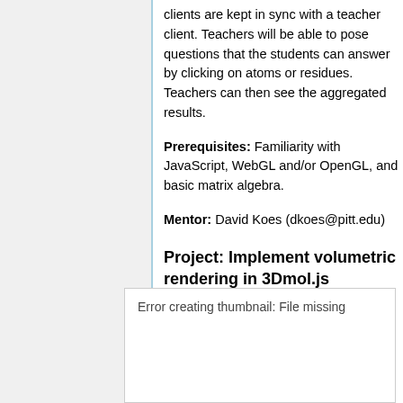clients are kept in sync with a teacher client. Teachers will be able to pose questions that the students can answer by clicking on atoms or residues. Teachers can then see the aggregated results.
Prerequisites: Familiarity with JavaScript, WebGL and/or OpenGL, and basic matrix algebra.
Mentor: David Koes (dkoes@pitt.edu)
Project: Implement volumetric rendering in 3Dmol.js
[Figure (other): Error creating thumbnail: File missing]